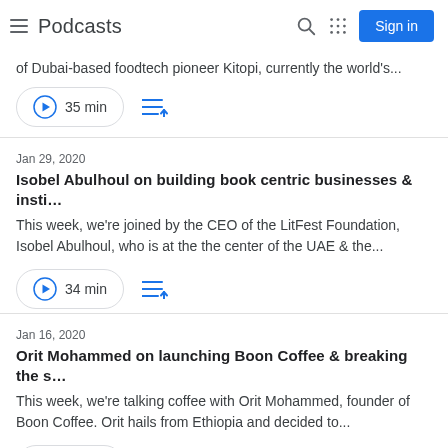Podcasts
of Dubai-based foodtech pioneer Kitopi, currently the world's...
35 min
Jan 29, 2020
Isobel Abulhoul on building book centric businesses & insti…
This week, we're joined by the CEO of the LitFest Foundation, Isobel Abulhoul, who is at the the center of the UAE & the...
34 min
Jan 16, 2020
Orit Mohammed on launching Boon Coffee & breaking the s…
This week, we're talking coffee with Orit Mohammed, founder of Boon Coffee. Orit hails from Ethiopia and decided to...
33 min